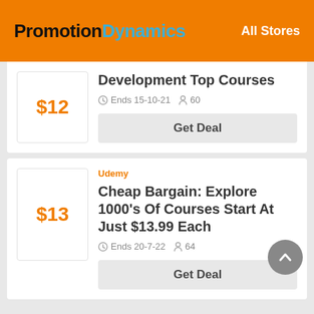PromotionDynamics  All Stores
$12
Development Top Courses
Ends 15-10-21  60
Get Deal
Udemy
$13
Cheap Bargain: Explore 1000's Of Courses Start At Just $13.99 Each
Ends 20-7-22  64
Get Deal